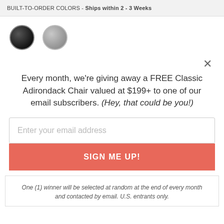BUILT-TO-ORDER COLORS - Ships within 2 - 3 Weeks
[Figure (illustration): Two circular color swatches: one black and one gray, with ring borders.]
Every month, we're giving away a FREE Classic Adirondack Chair valued at $199+ to one of our email subscribers. (Hey, that could be you!)
Enter your email address
SIGN ME UP!
One (1) winner will be selected at random at the end of every month and contacted by email. U.S. entrants only.